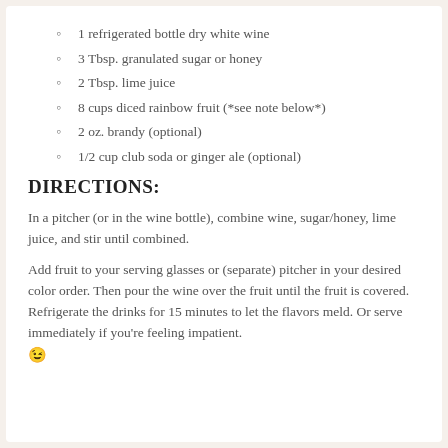1 refrigerated bottle dry white wine
3 Tbsp. granulated sugar or honey
2 Tbsp. lime juice
8 cups diced rainbow fruit (*see note below*)
2 oz. brandy (optional)
1/2 cup club soda or ginger ale (optional)
DIRECTIONS:
In a pitcher (or in the wine bottle), combine wine, sugar/honey, lime juice, and stir until combined.
Add fruit to your serving glasses or (separate) pitcher in your desired color order. Then pour the wine over the fruit until the fruit is covered. Refrigerate the drinks for 15 minutes to let the flavors meld. Or serve immediately if you’re feeling impatient. 😉